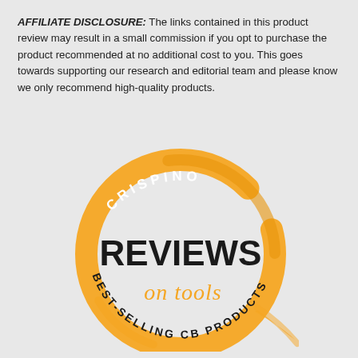AFFILIATE DISCLOSURE: The links contained in this product review may result in a small commission if you opt to purchase the product recommended at no additional cost to you. This goes towards supporting our research and editorial team and please know we only recommend high-quality products.
[Figure (logo): Crispino Reviews on Tools — Best-Selling CB Products circular logo in orange and black]